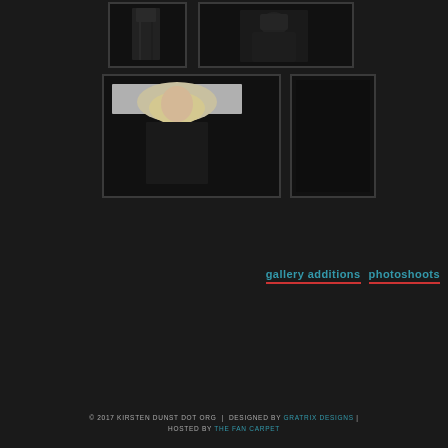[Figure (photo): Top-left thumbnail: figure in a dark dress on dark background]
[Figure (photo): Top-right thumbnail: figure in dark sequined/mesh top on dark background]
[Figure (photo): Bottom-left thumbnail: blonde woman, partial view with light background]
[Figure (photo): Bottom-right thumbnail: dark image, nearly all black]
gallery additions   photoshoots
© 2017 KIRSTEN DUNST DOT ORG  |  DESIGNED BY GRATRIX DESIGNS | HOSTED BY THE FAN CARPET